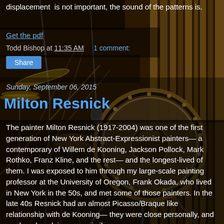displacement  is not important, the sound of the patterns is.
Get the pdf
Todd Bishop at 11:35 AM     1 comment:
Share
Sunday, September 06, 2015
Milton Resnick
The painter Milton Resnick (1917-2004) was one of the first generation of New York Abstract-Expressionist painters— a contemporary of Willem de Kooning, Jackson Pollock, Mark Rothko, Franz Kline, and the rest— and the longest-lived of them. I was exposed to him through my large-scale painting professor at the University of Oregon, Frank Okada, who lived in New York in the 50s, and met some of those painters. In the late 40s Resnick had an almost Picasso/Braque like relationship with de Kooning— they were close personally, and produced work in a very similar style, and it's hard to distinguish their early work.
[Figure (photo): Background photo of a drum kit in a recording studio, with cymbals, stands, and a large bass drum visible. The image has a dark golden/amber tone overlay.]